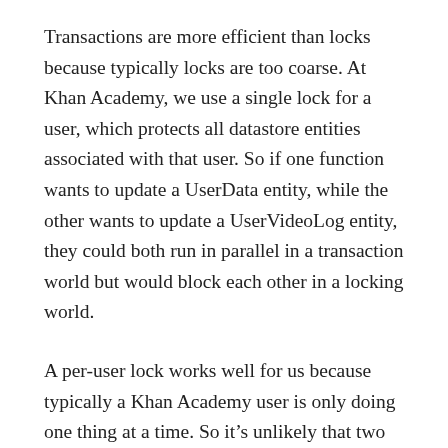Transactions are more efficient than locks because typically locks are too coarse. At Khan Academy, we use a single lock for a user, which protects all datastore entities associated with that user. So if one function wants to update a UserData entity, while the other wants to update a UserVideoLog entity, they could both run in parallel in a transaction world but would block each other in a locking world.
A per-user lock works well for us because typically a Khan Academy user is only doing one thing at a time. So it's unlikely that two processes would want to update two different user-specific entities in parallel. (But see “batch processing,” below.)
In general we consider transactions to be superior to locks